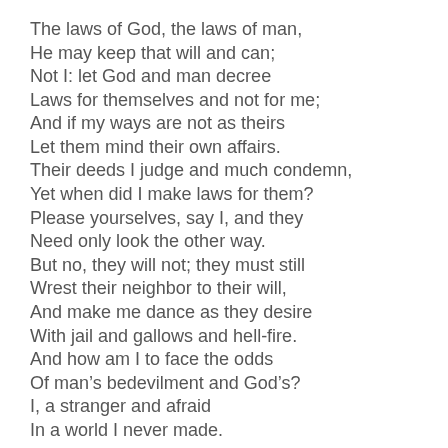The laws of God, the laws of man,
He may keep that will and can;
Not I: let God and man decree
Laws for themselves and not for me;
And if my ways are not as theirs
Let them mind their own affairs.
Their deeds I judge and much condemn,
Yet when did I make laws for them?
Please yourselves, say I, and they
Need only look the other way.
But no, they will not; they must still
Wrest their neighbor to their will,
And make me dance as they desire
With jail and gallows and hell-fire.
And how am I to face the odds
Of man's bedevilment and God's?
I, a stranger and afraid
In a world I never made.